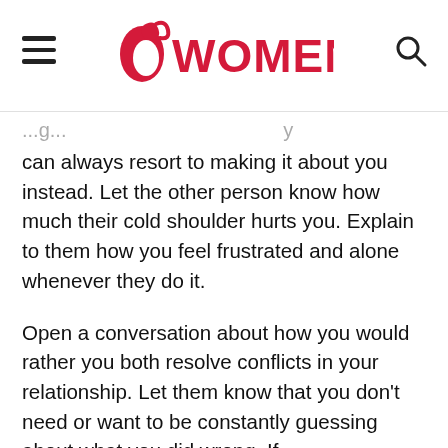SWOMENIO
can always resort to making it about you instead. Let the other person know how much their cold shoulder hurts you. Explain to them how you feel frustrated and alone whenever they do it.
Open a conversation about how you would rather you both resolve conflicts in your relationship. Let them know that you don't need or want to be constantly guessing about what you did wrong. If